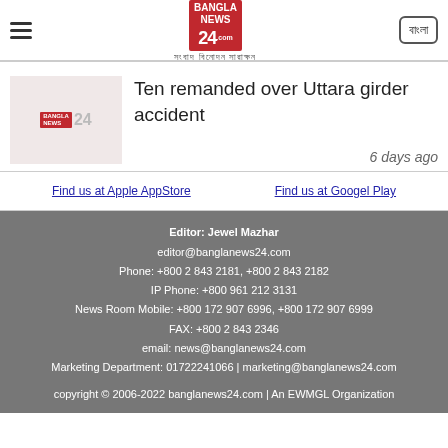Bangla News 24 — সংবাদ বিনোদন সারাক্ষণ
Ten remanded over Uttara girder accident
6 days ago
Find us at Apple AppStore | Find us at Google Play
Editor: Jewel Mazhar
editor@banglanews24.com
Phone: +800 2 843 2181, +800 2 843 2182
IP Phone: +800 961 212 3131
News Room Mobile: +800 172 907 6996, +800 172 907 6999
FAX: +800 2 843 2346
email: news@banglanews24.com
Marketing Department: 01722241066 | marketing@banglanews24.com
copyright © 2006-2022 banglanews24.com | An EWMGL Organization